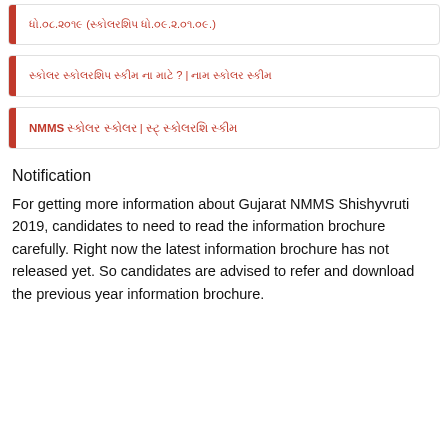ધો.૦૮.૨૦૧૯ (સ્કોલરશિપ ધો.૦૯.૨.૦૧.૦૯.)
સ્કોલર સ્કોલરશિપ સ્કીમ ના માટે ? | નામ સ્કોલર સ્કીમ
NMMS સ્કોલર સ્કોલર | સ્ટ્ સ્કોલરશિ સ્કીમ
Notification
For getting more information about Gujarat NMMS Shishyvruti 2019, candidates to need to read the information brochure carefully. Right now the latest information brochure has not released yet. So candidates are advised to refer and download the previous year information brochure.